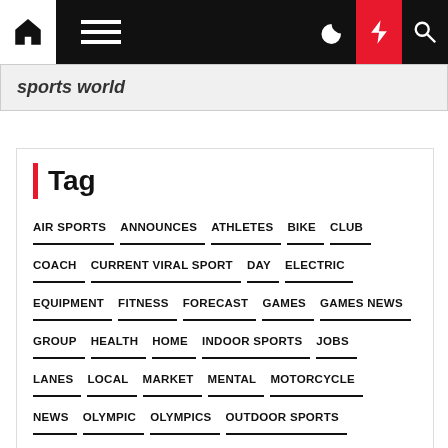Navigation bar with home, menu, moon, bolt, and search icons
sports world
Tag
AIR SPORTS
ANNOUNCES
ATHLETES
BIKE
CLUB
COACH
CURRENT VIRAL SPORT
DAY
ELECTRIC
EQUIPMENT
FITNESS
FORECAST
GAMES
GAMES NEWS
GROUP
HEALTH
HOME
INDOOR SPORTS
JOBS
LANES
LOCAL
MARKET
MENTAL
MOTORCYCLE
NEWS
OLYMPIC
OLYMPICS
OUTDOOR SPORTS
PLAYERS
REACTS
SCHOOL
SEASON
SIZE
SPECIAL
SPORT
SPORTING
SPORTS
SPORTS NEWS
STREET